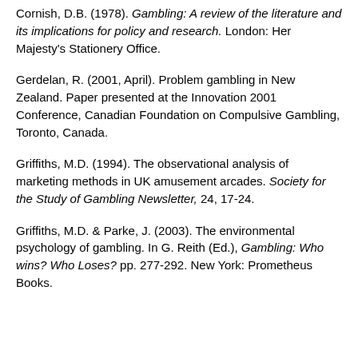Cornish, D.B. (1978). Gambling: A review of the literature and its implications for policy and research. London: Her Majesty's Stationery Office.
Gerdelan, R. (2001, April). Problem gambling in New Zealand. Paper presented at the Innovation 2001 Conference, Canadian Foundation on Compulsive Gambling, Toronto, Canada.
Griffiths, M.D. (1994). The observational analysis of marketing methods in UK amusement arcades. Society for the Study of Gambling Newsletter, 24, 17-24.
Griffiths, M.D. & Parke, J. (2003). The environmental psychology of gambling. In G. Reith (Ed.), Gambling: Who wins? Who Loses? pp. 277-292. New York: Prometheus Books.